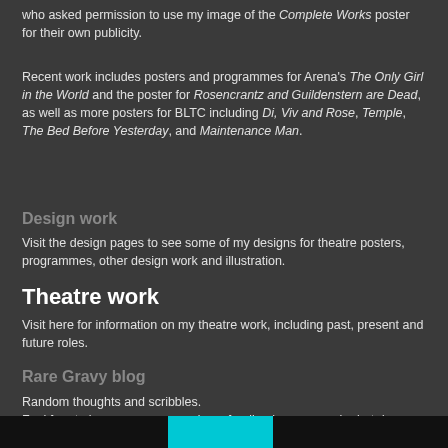who asked permission to use my image of the Complete Works poster for their own publicity.
Recent work includes posters and programmes for Arena's The Only Girl in the World and the poster for Rosencrantz and Guildenstern are Dead, as well as more posters for BLTC including Di, Viv and Rose, Temple, The Bed Before Yesterday, and Maintenance Man.
Design work
Visit the design pages to see some of my designs for theatre posters, programmes, other design work and illustration.
Theatre work
Visit here for information on my theatre work, including past, present and future roles.
Rare Gravy blog
Random thoughts and scribbles.
Feel free to leave your own, and any feedback on my work - but do please play nicely!
[Figure (other): Dark footer bar with cyan/teal element in the center]